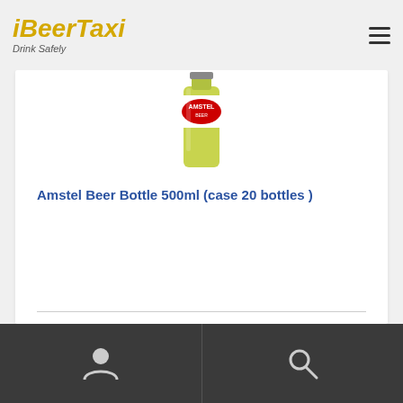[Figure (logo): iBeerTaxi logo with italic yellow/gold text and tagline 'Drink Safely']
[Figure (photo): Amstel Beer bottle 500ml product photo]
Amstel Beer Bottle 500ml (case 20 bottles )
62.00l.د
[Figure (infographic): Footer navigation bar with user icon and search icon on dark background]